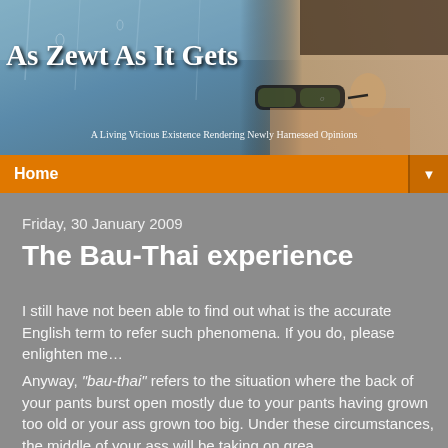[Figure (photo): Blog header banner showing a person wearing Oakley sunglasses with a rainy/wet background, overlaid with the blog title 'As Zewt As It Gets' and subtitle 'A Living Vicious Existence Rendering Newly Harnessed Opinions']
As Zewt As It Gets
A Living Vicious Existence Rendering Newly Harnessed Opinions
Home
Friday, 30 January 2009
The Bau-Thai experience
I still have not been able to find out what is the accurate English term to refer such phenomena. If you do, please enlighten me…
Anyway, "bau-thai" refers to the situation where the back of your pants burst open mostly due to your pants having grown too old or your ass grown too big. Under these circumstances, the middle of your ass will be taking on grea...